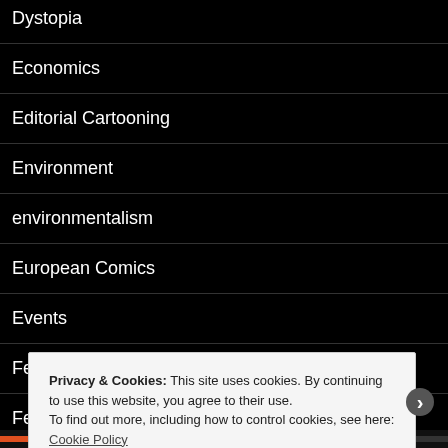Dystopia
Economics
Editorial Cartooning
Environment
environmentalism
European Comics
Events
Feminism
Feminist Comics
Privacy & Cookies: This site uses cookies. By continuing to use this website, you agree to their use.
To find out more, including how to control cookies, see here: Cookie Policy
Close and accept